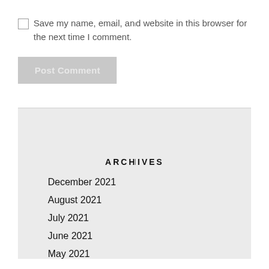Save my name, email, and website in this browser for the next time I comment.
Post Comment
ARCHIVES
December 2021
August 2021
July 2021
June 2021
May 2021